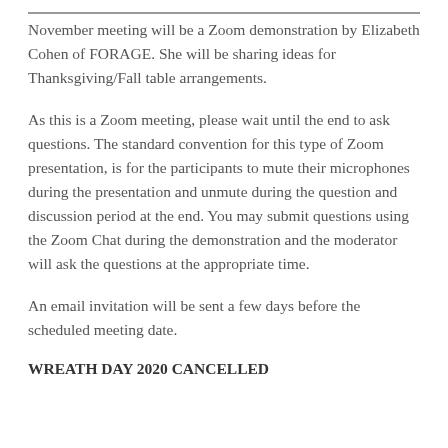November meeting will be a Zoom demonstration by Elizabeth Cohen of FORAGE.  She will be sharing ideas for Thanksgiving/Fall table arrangements.
As this is a Zoom meeting, please wait until the end to ask questions.  The standard convention for this type of Zoom presentation, is for the participants to mute their microphones during the presentation and unmute during the question and discussion period at the end.  You may submit questions using the Zoom Chat during the demonstration and the moderator will ask the questions at the appropriate time.
An email invitation will be sent a few days before the scheduled meeting date.
WREATH DAY 2020 CANCELLED